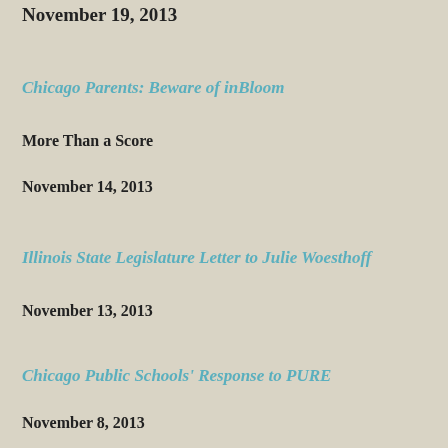November 19, 2013
Chicago Parents: Beware of inBloom
More Than a Score
November 14, 2013
Illinois State Legislature Letter to Julie Woesthoff
November 13, 2013
Chicago Public Schools' Response to PURE
November 8, 2013